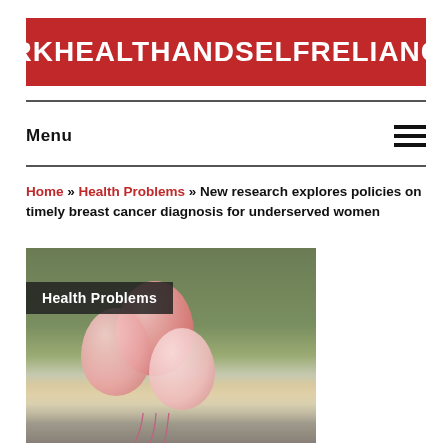ARKHEALTHANDSELFRELIANCE
Menu
Home » Health Problems » New research explores policies on timely breast cancer diagnosis for underserved women
[Figure (photo): Pink balloons held outdoors with blurred green landscape background. 'Health Problems' label overlay in dark box at top-left of image.]